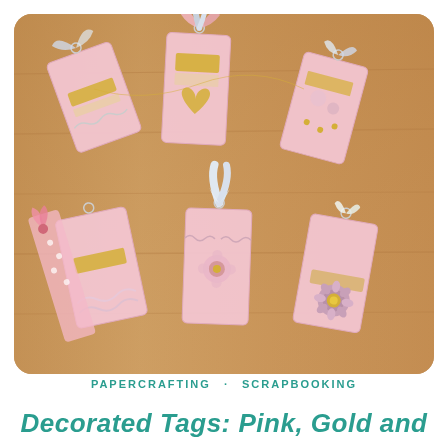[Figure (photo): Six decorated pink paper gift tags with gold and white ribbons, arranged on a wooden surface. Each tag features pink card stock with decorative elements including gold glitter strips, heart cutouts, chevron patterns, polka dots, floral embellishments, and various ribbon ties in pink, white, and silver.]
PAPERCRAFTING · SCRAPBOOKING
Decorated Tags: Pink, Gold and